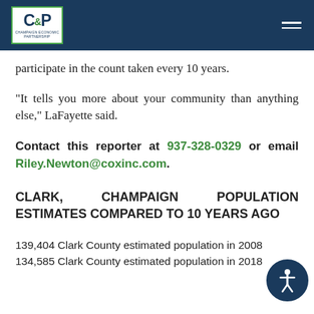[Figure (logo): CCeP (Champaign County Economic Partnership) logo — white box with blue letters and green border, on dark blue header bar]
participate in the count taken every 10 years.
“It tells you more about your community than anything else,” LaFayette said.
Contact this reporter at 937-328-0329 or email Riley.Newton@coxinc.com.
CLARK, CHAMPAIGN POPULATION ESTIMATES COMPARED TO 10 YEARS AGO
139,404 Clark County estimated population in 2008
134,585 Clark County estimated population in 2018